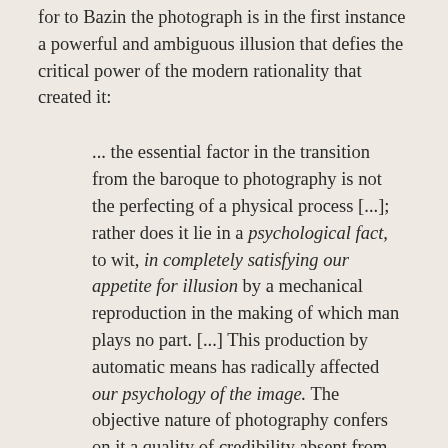for to Bazin the photograph is in the first instance a powerful and ambiguous illusion that defies the critical power of the modern rationality that created it:
... the essential factor in the transition from the baroque to photography is not the perfecting of a physical process [...]; rather does it lie in a psychological fact, to wit, in completely satisfying our appetite for illusion by a mechanical reproduction in the making of which man plays no part. [...] This production by automatic means has radically affected our psychology of the image. The objective nature of photography confers on it a quality of credibility absent from all other picture-making. In spite of any objections our critical spirit may offer, we are forced to accept as real the existence of the object reproduced, actually re-presented, set before us, that is to say, in time and space. [...] A very faithful drawing may actually tell